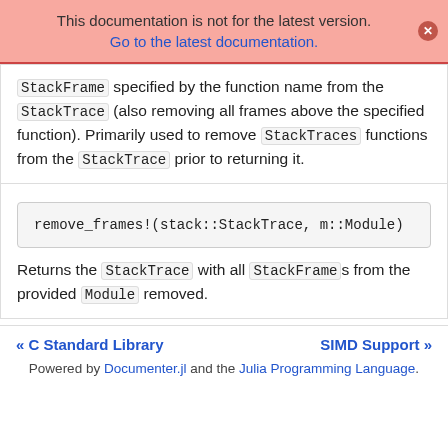This documentation is not for the latest version. Go to the latest documentation.
StackFrame specified by the function name from the StackTrace (also removing all frames above the specified function). Primarily used to remove StackTraces functions from the StackTrace prior to returning it.
remove_frames!(stack::StackTrace, m::Module)
Returns the StackTrace with all StackFrames from the provided Module removed.
« C Standard Library
SIMD Support »
Powered by Documenter.jl and the Julia Programming Language.